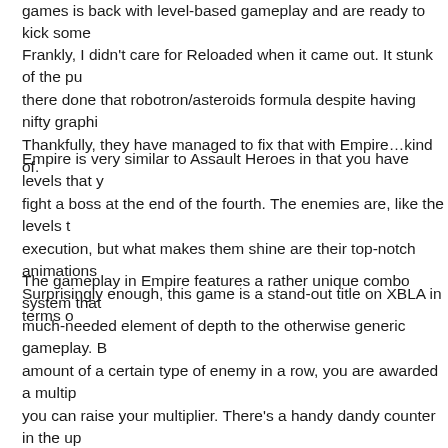games is back with level-based gameplay and are ready to kick some
Frankly, I didn't care for Reloaded when it came out. It stunk of the pu there done that robotron/asteroids formula despite having nifty graphi Thankfully, they have managed to fix that with Empire…kind of.
Empire is very similar to Assault Heroes in that you have levels that y fight a boss at the end of the fourth. The enemies are, like the levels t execution, but what makes them shine are their top-notch animations Surprisingly enough, this game is a stand-out title on XBLA in terms o
The gameplay in Empire features a rather unique combo system that much-needed element of depth to the otherwise generic gameplay. B amount of a certain type of enemy in a row, you are awarded a multip you can raise your multiplier. There's a handy dandy counter in the up remind you of how many more you need of that enemy to get the bon keep track of it yourself, although, on higher difficulties the enemies b that taking a fraction of a second to check your combo meter might m
Plug in a second controller, or alternatively go online, and you and a f levels together. If your friend isn't very good and you're going for a hi probably just ask him to sit this one out as both of you share the same this though, the gameplay becomes highly rewarding when you and y